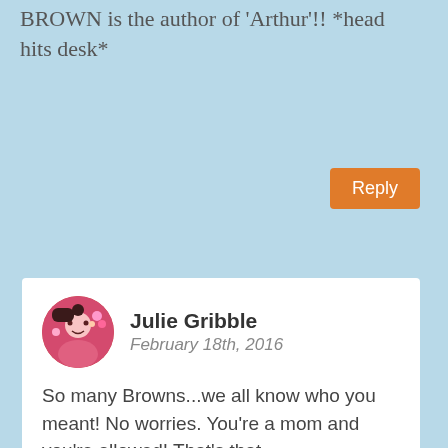BROWN is the author of 'Arthur'!! *head hits desk*
Reply
Julie Gribble
February 18th, 2016
So many Browns...we all know who you meant! No worries. You're a mom and you're allowed! That's that.
Reply